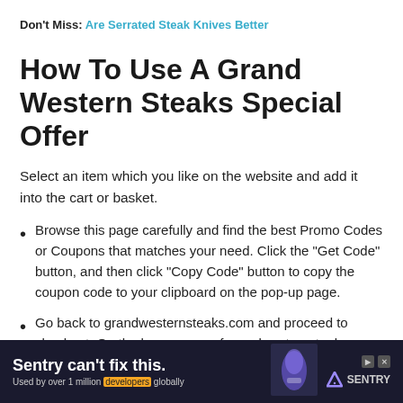Don't Miss: Are Serrated Steak Knives Better
How To Use A Grand Western Steaks Special Offer
Select an item which you like on the website and add it into the cart or basket.
Browse this page carefully and find the best Promo Codes or Coupons that matches your need. Click the “Get Code” button, and then click “Copy Code” button to copy the coupon code to your clipboard on the pop-up page.
Go back to grandwesternsteaks.com and proceed to checkout. On the home page of grandwesternsteaks.com,
[Figure (infographic): Advertisement banner: 'Sentry can't fix this.' with Sentry logo. Text: 'Used by over 1 million developers globally']